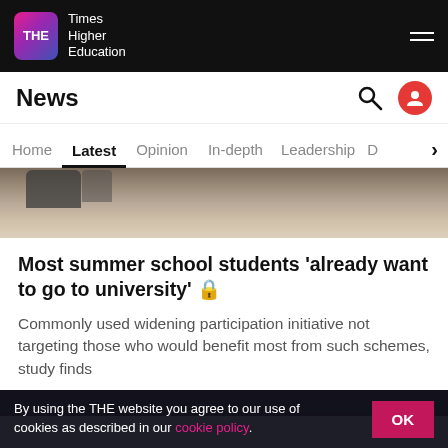THE Times Higher Education
News
Home  Latest  Opinion  In-depth  Leadership  D  >
[Figure (photo): Partial view of feet/shoes near a stone curb, street-level photograph]
Most summer school students ‘already want to go to university’ 🔒
Commonly used widening participation initiative not targeting those who would benefit most from such schemes, study finds
By Tom Williams  27 July
[Figure (photo): Dark background partial image, second article thumbnail]
By using the THE website you agree to our use of cookies as described in our cookie policy.